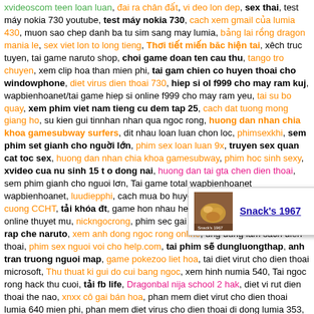xvideoscom teen loan luan, đai ra chân đất, vi deo lon dep, sex thai, test máy nokia 730 youtube, test máy nokia 730, cach xem gmail của lumia 430, muon sao chep danh ba tu sim sang may lumia, bảng lai rồng dragon mania le, sex viet lon to long tieng, Thơi tiết miến băc hiện tai, xêch truc tuyen, tai game naruto shop, choi game doan ten cau thu, tango tro chuyen, xem clip hoa than mien phi, tai gam chien co huyen thoai cho windowphone, diet virus dien thoai 730, hiep si ol f999 cho may ram kuj, wapbienhoanet/tai game hiep si online f999 cho may ram yeu, tai su bo quay, xem phim viet nam tieng cu dem tap 25, cach dat tuong mong giang ho, su kien gui tinnhan nhan qua ngoc rong, huong dan nhan chia khoa gamesubway surfers, dit nhau loan luan chon loc, phimsexkhi, sem phim set gianh cho nguời lớn, phim sex loan luan 9x, truyen sex quan cat toc sex, huong dan nhan chia khoa gamesubway, phim hoc sinh sexy, xvideo cua nu sinh 15 t o dong nai, huong dan tai gta chen dien thoai, sem phim gianh cho nguoi lơn, Tai game total wapbienhoanet wapbienhoanet, luudiepphi, cach mua bo huyet trog nr o dau, code kim cuong CCHT, tải khóa đt, game hon nhau help.com, phim sex lian luan online thuyet mu, nickngocrong, phim sec gai gia, phim sec mp4hd, nhac rap che naruto, xem anh dong ngoc rong online, ung dung lam sach dien thoai, phim sex nguoi voi cho help.com, tai phim sẽ dungluongthap, anh tran truong nguoi map, game pokezoo liet hoa, tai diet virut cho dien thoai microsoft, Thu thuat ki gui do cui bang ngoc, xem hinh numia 540, Tai ngoc rong hack thu cuoi, tải fb life, Dragonbal nija school 2 hak, diet vi rut dien thoai the nao, xnxx cô gai bán hoa, phan mem diet virut cho dien thoai lumia 640 mien phi, phan mem diet virus cho dien thoai di dong lumia 353, hupng dan tai phan mem diet virut cho lumia, anh gai xinh lê hoan lam cao tang tỏ, tai game mong vô lương cho dien thoai lumia, tai game cho dien thoai me vacon, anh gai ban hang dep, tai game pixel gun 3d mien phi cho dien thoai, tai down game thu thuat giai tri cong van, con gai nhat ban con gai nhat ban vi deo, sem dit nhau 25, phung hinh anh dep
[Figure (other): Advertisement popup for 'Snack's 1967' with a food image thumbnail, title link, and close button]